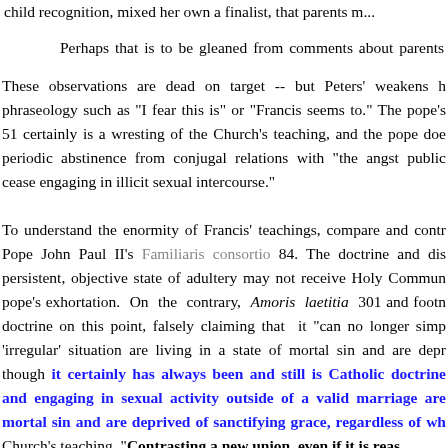child recognition, mixed her own a finalist, that parents m...
Perhaps that is to be gleaned from comments about parents ma...
These observations are dead on target -- but Peters' weakens his argument by hedging with phraseology such as "I fear this is" or "Francis seems to." The pope's footnote 351 at AL 51 certainly is a wresting of the Church's teaching, and the pope does conflate the call for periodic abstinence from conjugal relations with "the angst publicly voiced" to cease engaging in illicit sexual intercourse."
To understand the enormity of Francis' teachings, compare and contrast with Pope John Paul II's Familiaris consortio 84. The doctrine and discipline is clear: a persistent, objective state of adultery may not receive Holy Communion -- clear in the prior pope's exhortation. On the contrary, Amoris laetitia 301 and footnote 351 revise doctrine on this point, falsely claiming that it "can no longer simply" say that those in an 'irregular' situation are living in a state of mortal sin and are deprived of grace -- even though it certainly has always been and still is Catholic doctrine that living in adultery and engaging in sexual activity outside of a valid marriage are living in a state of mortal sin and are deprived of sanctifying grace, regardless of wh...
Church's teaching. "Contrasting a new union, even if it is reas...